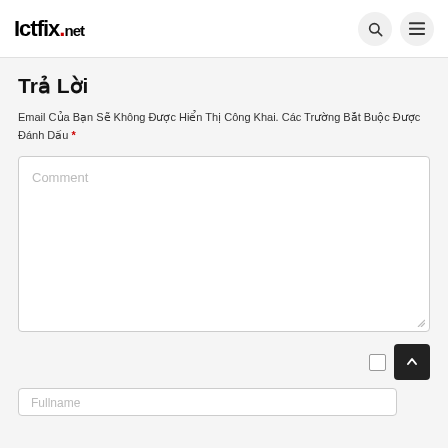Ictfix.net
Trả Lời
Email Của Bạn Sẽ Không Được Hiển Thị Công Khai. Các Trường Bắt Buộc Được Đánh Dấu *
Comment
Fullname